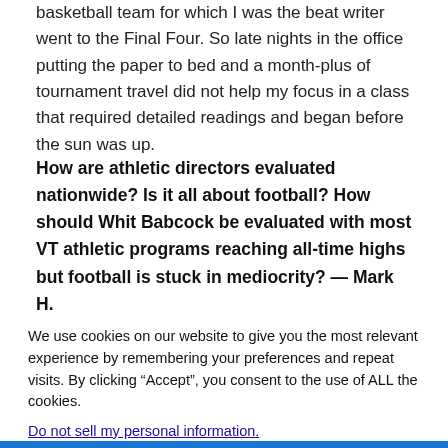basketball team for which I was the beat writer went to the Final Four. So late nights in the office putting the paper to bed and a month-plus of tournament travel did not help my focus in a class that required detailed readings and began before the sun was up.
How are athletic directors evaluated nationwide? Is it all about football? How should Whit Babcock be evaluated with most VT athletic programs reaching all-time highs but football is stuck in mediocrity? — Mark H.
We use cookies on our website to give you the most relevant experience by remembering your preferences and repeat visits. By clicking “Accept”, you consent to the use of ALL the cookies.
Do not sell my personal information.